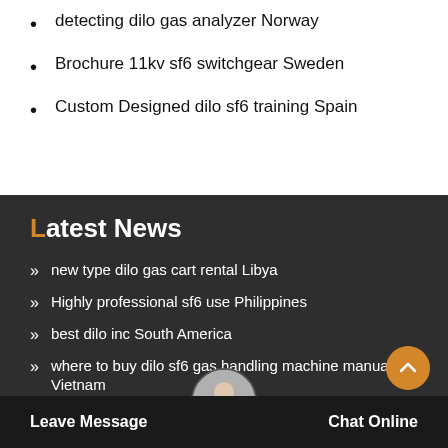detecting dilo gas analyzer Norway
Brochure 11kv sf6 switchgear Sweden
Custom Designed dilo sf6 training Spain
Latest News
new type dilo gas cart rental Libya
Highly professional sf6 use Philippines
best dilo inc South America
where to buy dilo sf6 gas handling machine manual Vietnam
where to buy dilo sf6 gas recovery Turkey
iso sf6 replacement gas North America
where to buy dilo gas tester United Kingdom
Leave Message  Chat Online